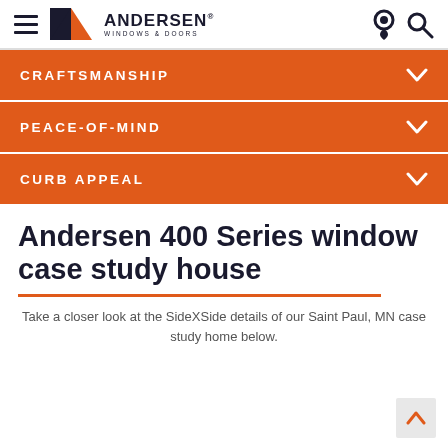Andersen Windows & Doors navigation header
CRAFTSMANSHIP
PEACE-OF-MIND
CURB APPEAL
Andersen 400 Series window case study house
Take a closer look at the SideXSide details of our Saint Paul, MN case study home below.